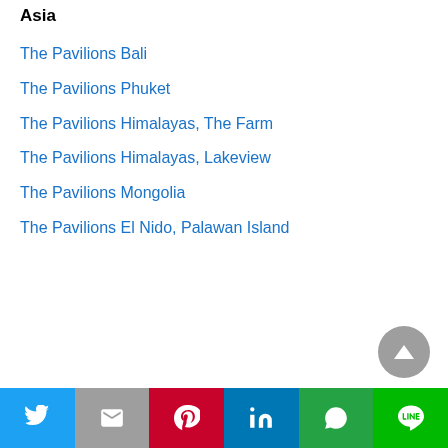Asia
The Pavilions Bali
The Pavilions Phuket
The Pavilions Himalayas, The Farm
The Pavilions Himalayas, Lakeview
The Pavilions Mongolia
The Pavilions El Nido, Palawan Island